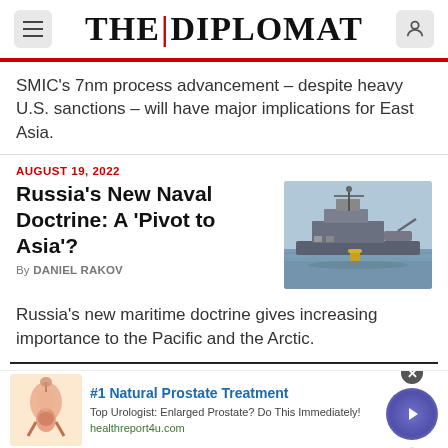THE DIPLOMAT
SMIC's 7nm process advancement – despite heavy U.S. sanctions – will have major implications for East Asia.
AUGUST 19, 2022
Russia's New Naval Doctrine: A 'Pivot to Asia'?
By DANIEL RAKOV
[Figure (photo): Photo of a Russian naval warship at port]
Russia's new maritime doctrine gives increasing importance to the Pacific and the Arctic.
#1 Natural Prostate Treatment
Top Urologist: Enlarged Prostate? Do This Immediately!
healthreport4u.com